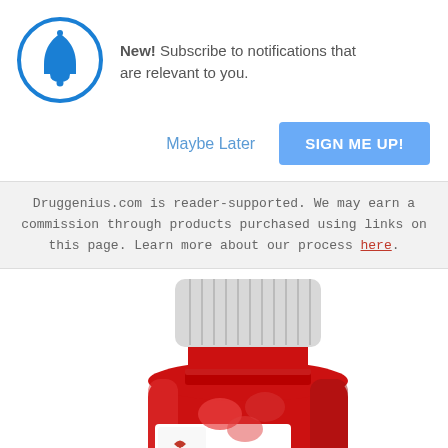[Figure (screenshot): Notification prompt with blue bell icon in a circle, bold 'New!' text, and message 'Subscribe to notifications that are relevant to you.']
New! Subscribe to notifications that are relevant to you.
Maybe Later
SIGN ME UP!
Druggenius.com is reader-supported. We may earn a commission through products purchased using links on this page. Learn more about our process here.
[Figure (photo): Red Goli supplement bottle with white ribbed cap, showing the 'goli' brand name in white letters and a 'Gluten-Free' label on the side.]